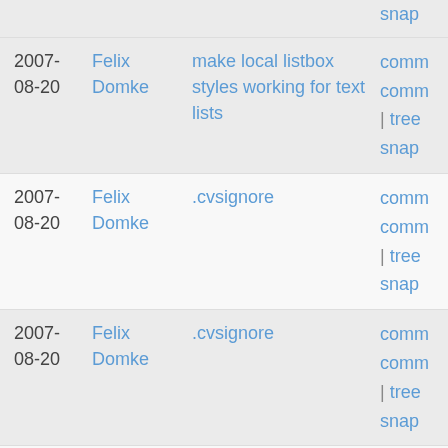| Date | Author | Message | Actions |
| --- | --- | --- | --- |
| 2007-08-20 | Felix Domke | make local listbox styles working for text lists | comm
comm
| tree
snap |
| 2007-08-20 | Felix Domke | .cvsignore | comm
comm
| tree
snap |
| 2007-08-20 | Felix Domke | .cvsignore | comm
comm
| tree
snap |
| 2007-08-20 | Felix Domke | add .pyc to .cvsignore | comm
comm
| tree
snap |
| 2007- | Felix | add .ts.meta (for tests) to .cvsignore | comm |